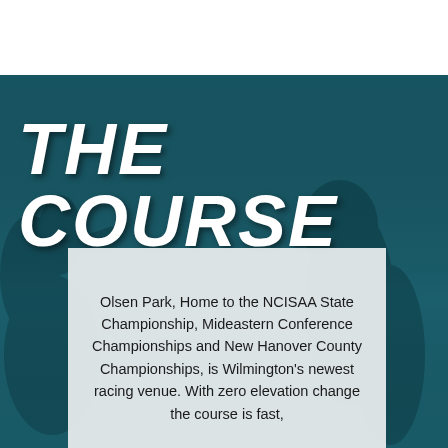[Figure (photo): Two runners in a dark teal-toned photo background with large italic bold white text 'THE COURSE' overlaid]
THE COURSE
Olsen Park, Home to the NCISAA State Championship, Mideastern Conference Championships and New Hanover County Championships, is Wilmington's newest racing venue. With zero elevation change the course is fast,